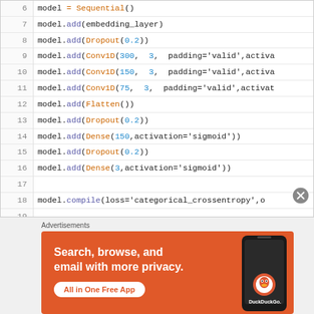[Figure (screenshot): Code editor screenshot showing Python/Keras model definition lines 6-19 with syntax highlighting]
Advertisements
[Figure (illustration): DuckDuckGo advertisement banner: Search, browse, and email with more privacy. All in One Free App]